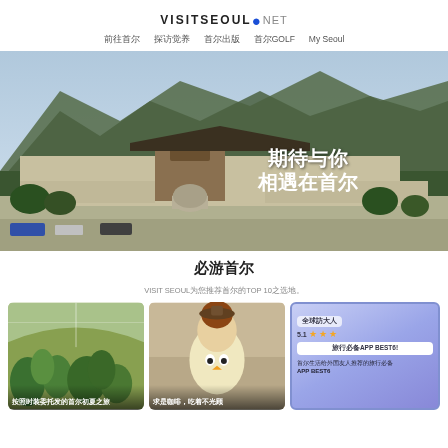VISITSEOUL.NET
前往首尔  探访觉养  首尔出版  首尔GOLF  My Seoul
[Figure (photo): Aerial view of Gyeongbokgung Palace in Seoul with mountains in the background. White overlay text reads: 期待与你 相遇在首尔]
必游首尔
VISIT SEOUL为您推荐首尔的TOP 10之选地。
[Figure (photo): Indoor garden or greenhouse with lush green plants and glass ceiling. Caption: 按照时装委托发的首尔初夏之旅]
[Figure (photo): Cute character food item, egg-shaped with cartoon face. Caption: 求是咖啡，吃着不光顾]
[Figure (infographic): App promotion card with purple/blue gradient background. Shows app rating stars, button '旅行必备APP BEST6!', text about Seoul life apps recommended by foreigners. Title: 首尔生活给外国友人推荐的旅行必备 APP BEST6]